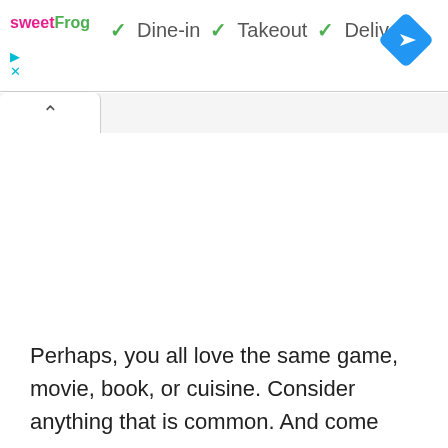[Figure (screenshot): sweetFrog logo with Dine-in, Takeout, Delivery service options with green checkmarks, and a blue navigation diamond icon on the right]
Perhaps, you all love the same game, movie, book, or cuisine. Consider anything that is common. And come